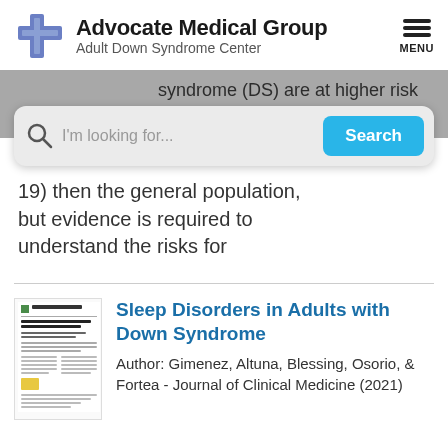Advocate Medical Group — Adult Down Syndrome Center
syndrome (DS) are at higher risk for...
19) then the general population, but evidence is required to understand the risks for
[Figure (screenshot): Search bar with magnifying glass icon, placeholder text 'I'm looking for...' and a blue Search button]
Sleep Disorders in Adults with Down Syndrome
Author: Gimenez, Altuna, Blessing, Osorio, & Fortea - Journal of Clinical Medicine (2021)